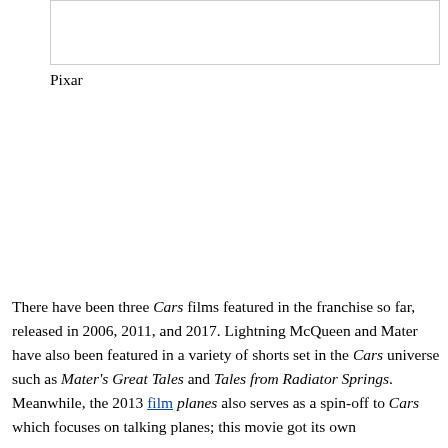[Figure (other): Empty white box with border, likely placeholder for an image]
Pixar
There have been three Cars films featured in the franchise so far, released in 2006, 2011, and 2017. Lightning McQueen and Mater have also been featured in a variety of shorts set in the Cars universe such as Mater's Great Tales and Tales from Radiator Springs. Meanwhile, the 2013 film planes also serves as a spin-off to Cars which focuses on talking planes; this movie got its own